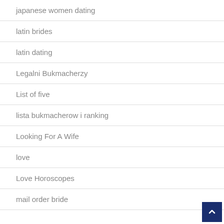japanese women dating
latin brides
latin dating
Legalni Bukmacherzy
List of five
lista bukmacherow i ranking
Looking For A Wife
love
Love Horoscopes
mail order bride